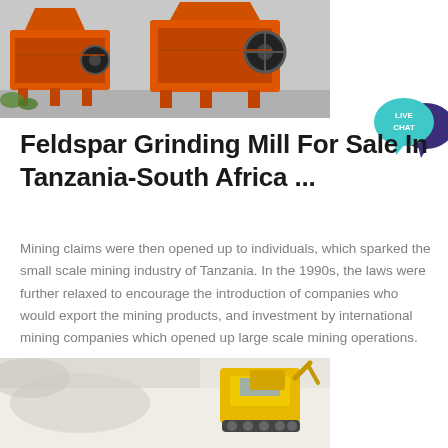[Figure (photo): Orange industrial mining/crushing machines (jaw crushers) parked outdoors on a concrete surface with greenery visible in background.]
[Figure (infographic): Live Chat speech bubble icon — teal/cyan speech bubble with dark purple chat bubble overlay, text reads LIVE CHAT in white.]
Feldspar Grinding Mill For Sale In Tanzania-South Africa ...
Mining claims were then opened up to individuals, which sparked the small scale mining industry of Tanzania. In the 1990s, the laws were further relaxed to encourage the introduction of companies who would export the mining products, and investment by international mining companies which opened up large scale mining operations.
[Figure (photo): Partial photo of a mining/quarry scene showing white mineral or sand material and yellow construction equipment.]